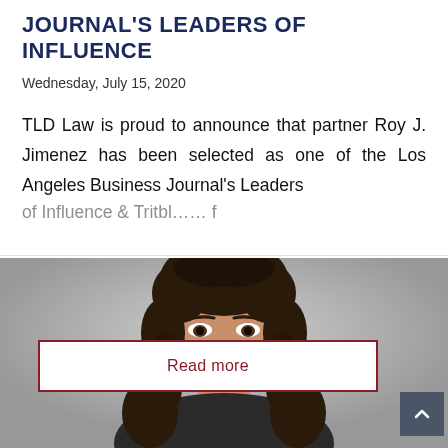JOURNAL'S LEADERS OF INFLUENCE
Wednesday, July 15, 2020
TLD Law is proud to announce that partner Roy J. Jimenez has been selected as one of the Los Angeles Business Journal's Leaders of Influence…
[Figure (photo): Professional headshot of a woman with dark curly hair, smiling, against a light grey background]
Read more